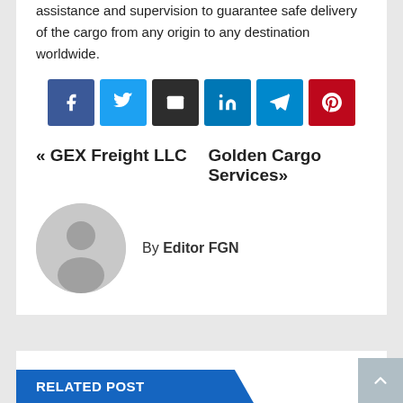assistance and supervision to guarantee safe delivery of the cargo from any origin to any destination worldwide.
[Figure (other): Social sharing icons: Facebook, Twitter, Email, LinkedIn, Telegram, Pinterest]
« GEX Freight LLC   Golden Cargo Services»
[Figure (other): Author avatar placeholder (gray circle with silhouette)]
By Editor FGN
RELATED POST